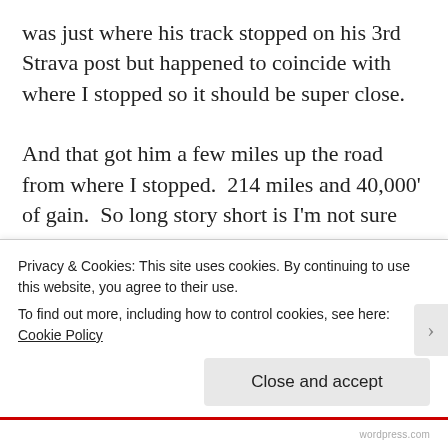was just where his track stopped on his 3rd Strava post but happened to coincide with where I stopped so it should be super close.

And that got him a few miles up the road from where I stopped.  214 miles and 40,000' of gain.  So long story short is I'm not sure what data to believe.  I hit all the resupplies and made route mistakes I had to back track on and I'm sure that added a few thousand feet easy.  Long story short is you're in for HUGE days.  I'll split the difference and say 35,000'. Ha
Privacy & Cookies: This site uses cookies. By continuing to use this website, you agree to their use.
To find out more, including how to control cookies, see here: Cookie Policy
Close and accept